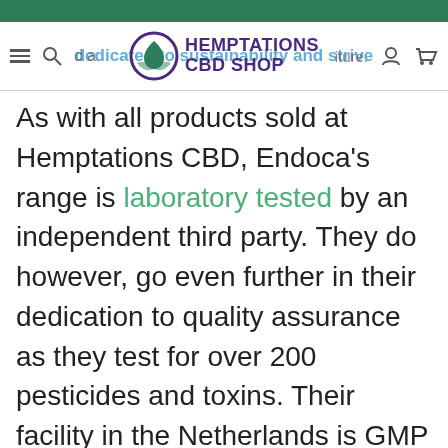Hemptations CBD Shop — navigation header
As with all products sold at Hemptations CBD, Endoca's range is laboratory tested by an independent third party. They do however, go even further in their dedication to quality assurance as they test for over 200 pesticides and toxins. Their facility in the Netherlands is GMP certified where they continue to improve their products to ensure quality and safety